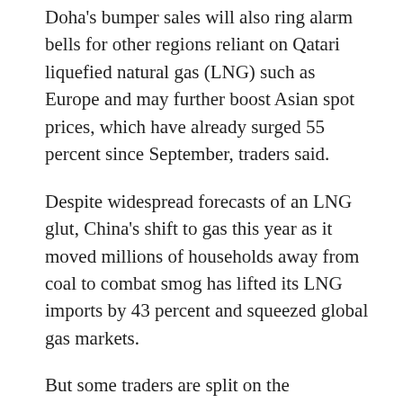Doha's bumper sales will also ring alarm bells for other regions reliant on Qatari liquefied natural gas (LNG) such as Europe and may further boost Asian spot prices, which have already surged 55 percent since September, traders said.
Despite widespread forecasts of an LNG glut, China's shift to gas this year as it moved millions of households away from coal to combat smog has lifted its LNG imports by 43 percent and squeezed global gas markets.
But some traders are split on the sustainability of the rally, citing weather, crude oil price movements and the degree of residual demand left in China as big unknowns that could potentially dampen prices.